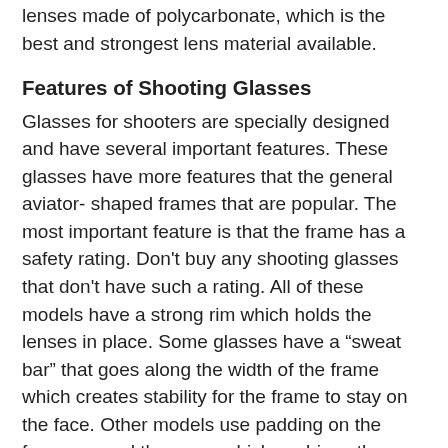lenses made of polycarbonate, which is the best and strongest lens material available.
Features of Shooting Glasses
Glasses for shooters are specially designed and have several important features. These glasses have more features that the general aviator- shaped frames that are popular. The most important feature is that the frame has a safety rating. Don't buy any shooting glasses that don't have such a rating. All of these models have a strong rim which holds the lenses in place. Some glasses have a “sweat bar” that goes along the width of the frame which creates stability for the frame to stay on the face. Other models use padding on the frame around the eyes, which cushions the frame on your face. This protects your face from gun recoil. Additionally, it adds to the protection against the elements.
Glasses for shooting often have temples with spring hinges. This type of hinge allows the frame to move without breaking. Many glasses often include temples that wrap around your ear which helps keep the frame in the correct position on your face. Features that make the frames more comfortable often include